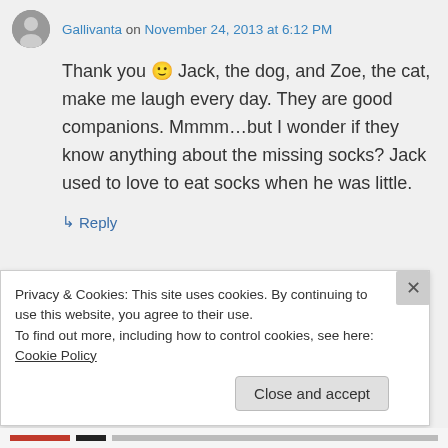Gallivanta on November 24, 2013 at 6:12 PM
Thank you 🙂 Jack, the dog, and Zoe, the cat, make me laugh every day. They are good companions. Mmmm…but I wonder if they know anything about the missing socks? Jack used to love to eat socks when he was little.
↳ Reply
Privacy & Cookies: This site uses cookies. By continuing to use this website, you agree to their use.
To find out more, including how to control cookies, see here: Cookie Policy
Close and accept